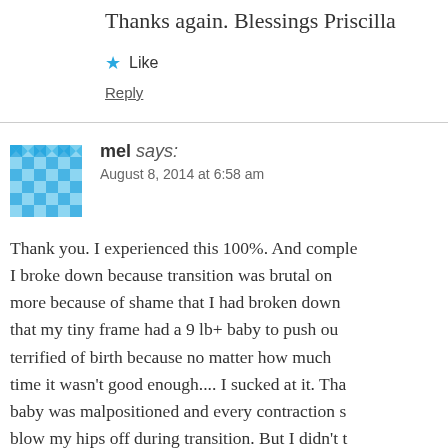Thanks again. Blessings Priscilla
Like
Reply
mel says:
August 8, 2014 at 6:58 am
Thank you. I experienced this 100%. And comple... I broke down because transition was brutal on... more because of shame that I had broken down... that my tiny frame had a 9 lb+ baby to push out... terrified of birth because no matter how much... time it wasn't good enough.... I sucked at it. Tha... baby was malpositioned and every contraction s... blow my hips off during transition. But I didn't t... birther and that gave more room for my midwiv... me which really made it a much better experier...